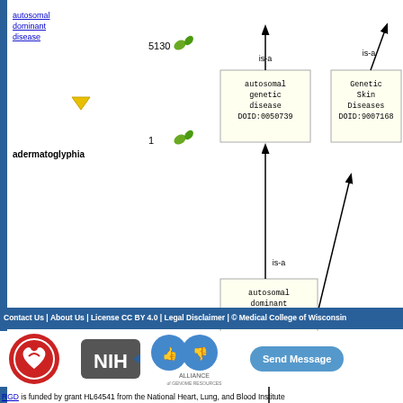[Figure (network-graph): Ontology graph showing adermatoglyphia (DOID:0111357) with is-a relationships to autosomal dominant disease (DOID:0050736), which has is-a to autosomal genetic disease (DOID:0050739), and also is-a to Genetic Skin Diseases (DOID:9007168). Left panel shows 'autosomal dominant disease' link, count 5130, 'adermatoglyphia' bold label, count 1.]
Contact Us | About Us | License CC BY 4.0 | Legal Disclaimer | © Medical College of Wisconsin
[Figure (logo): RGD logo (red circle with heart and person), NIH logo (dark gray hexagon with NIH text), Alliance of Genome Resources logo (blue circles with thumbs up/down icons)]
RGD is funded by grant HL64541 from the National Heart, Lung, and Blood Institute